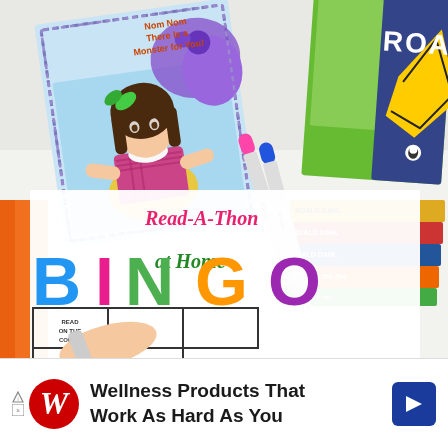[Figure (photo): Photo of a Read-A-Thon at Home BINGO activity sheet being filled in with Sharpie markers (pink and blue), surrounded by children's books including a Roald Dahl stack and an illustrated children's book featuring a girl.]
Wellness Products That Work As Hard As You